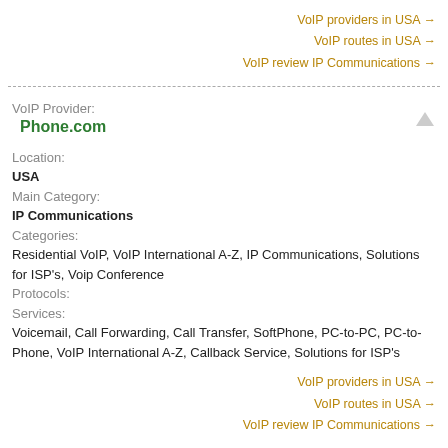VoIP providers in USA →
VoIP routes in USA →
VoIP review IP Communications →
VoIP Provider:
Phone.com
Location:
USA
Main Category:
IP Communications
Categories:
Residential VoIP, VoIP International A-Z, IP Communications, Solutions for ISP's, Voip Conference
Protocols:
Services:
Voicemail, Call Forwarding, Call Transfer, SoftPhone, PC-to-PC, PC-to-Phone, VoIP International A-Z, Callback Service, Solutions for ISP's
VoIP providers in USA →
VoIP routes in USA →
VoIP review IP Communications →
VoIP Provider:
PortaOne INc.